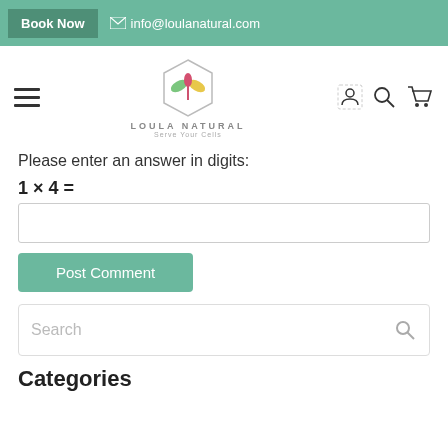Book Now   info@loulanatural.com
[Figure (logo): Loula Natural logo — hexagon outline with a plant sprout (yellow, green, red leaves), text LOULA NATURAL / Serve Your Cells]
Please enter an answer in digits:
[answer input field]
Post Comment
Search
Categories